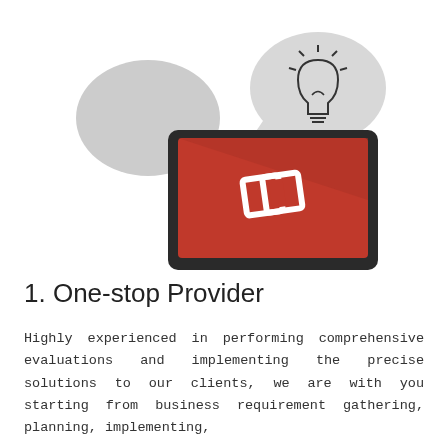[Figure (illustration): Illustration of a laptop computer with a red screen showing a white interlocking diamond/S logo, with two gray speech bubbles on either side — the left bubble is plain/empty and the right bubble contains a lightbulb icon.]
1. One-stop Provider
Highly experienced in performing comprehensive evaluations and implementing the precise solutions to our clients, we are with you starting from business requirement gathering, planning, implementing,